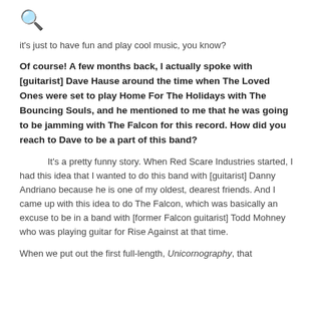🔍
it's just to have fun and play cool music, you know?
Of course! A few months back, I actually spoke with [guitarist] Dave Hause around the time when The Loved Ones were set to play Home For The Holidays with The Bouncing Souls, and he mentioned to me that he was going to be jamming with The Falcon for this record. How did you reach to Dave to be a part of this band?
It's a pretty funny story. When Red Scare Industries started, I had this idea that I wanted to do this band with [guitarist] Danny Andriano because he is one of my oldest, dearest friends. And I came up with this idea to do The Falcon, which was basically an excuse to be in a band with [former Falcon guitarist] Todd Mohney who was playing guitar for Rise Against at that time.
When we put out the first full-length, Unicornography, that